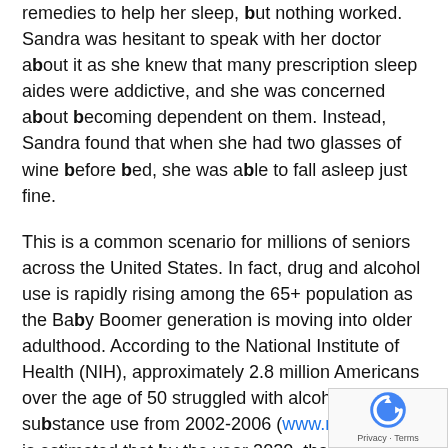remedies to help her sleep, but nothing worked. Sandra was hesitant to speak with her doctor about it as she knew that many prescription sleep aides were addictive, and she was concerned about becoming dependent on them. Instead, Sandra found that when she had two glasses of wine before bed, she was able to fall asleep just fine.
This is a common scenario for millions of seniors across the United States. In fact, drug and alcohol use is rapidly rising among the 65+ population as the Baby Boomer generation is moving into older adulthood. According to the National Institute of Health (NIH), approximately 2.8 million Americans over the age of 50 struggled with alcohol or substance use from 2002-2006 (www.nih.gov). It is estimated that by the year 2020, that number will reach nearly 6 million.